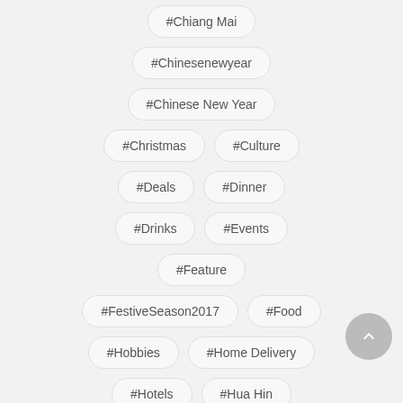#Chiang Mai
#Chinesenewyear
#Chinese New Year
#Christmas
#Culture
#Deals
#Dinner
#Drinks
#Events
#Feature
#FestiveSeason2017
#Food
#Hobbies
#Home Delivery
#Hotels
#Hua Hin
#Japanese Food
#Koh Samui
#Krabi
#Lifestyle